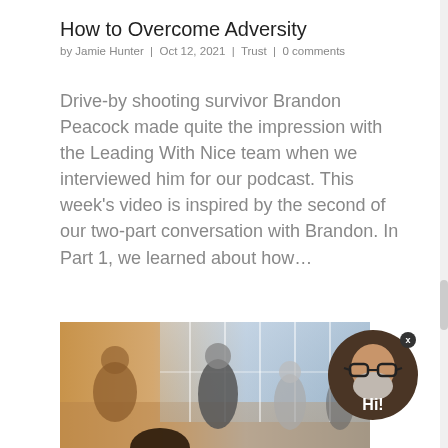How to Overcome Adversity
by Jamie Hunter | Oct 12, 2021 | Trust | 0 comments
Drive-by shooting survivor Brandon Peacock made quite the impression with the Leading With Nice team when we interviewed him for our podcast. This week’s video is inspired by the second of our two-part conversation with Brandon. In Part 1, we learned about how…
[Figure (photo): A group of business professionals standing and talking in a bright office or lobby setting, warm-toned photo. A chat widget avatar (man with glasses and beard) overlays the bottom right, with a 'Hi!' label.]